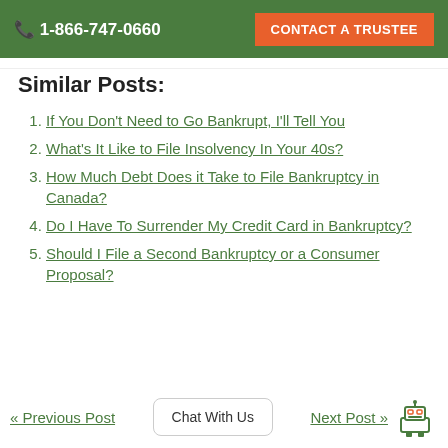1-866-747-0660  CONTACT A TRUSTEE
Similar Posts:
If You Don't Need to Go Bankrupt, I'll Tell You
What's It Like to File Insolvency In Your 40s?
How Much Debt Does it Take to File Bankruptcy in Canada?
Do I Have To Surrender My Credit Card in Bankruptcy?
Should I File a Second Bankruptcy or a Consumer Proposal?
« Previous Post   Chat With Us   Next Post »